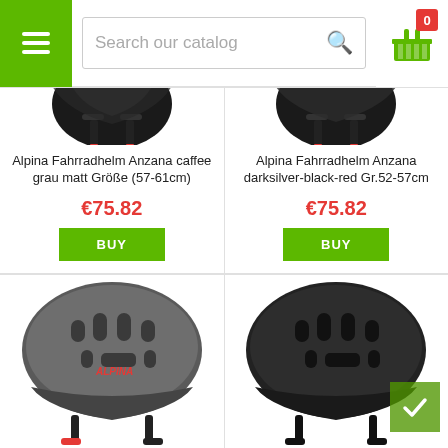Search our catalog
[Figure (photo): Alpina Fahrradhelm Anzana caffee grau matt - close-up of chin strap area]
Alpina Fahrradhelm Anzana caffee grau matt Größe (57-61cm)
€75.82
BUY
[Figure (photo): Alpina Fahrradhelm Anzana darksilver-black-red - close-up of chin strap area]
Alpina Fahrradhelm Anzana darksilver-black-red Gr.52-57cm
€75.82
BUY
[Figure (photo): Alpina bicycle helmet - silver/dark metallic color, full view from side]
[Figure (photo): Alpina bicycle helmet - black color, full view from side]